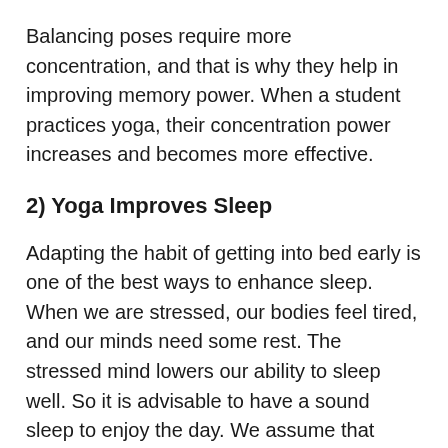Balancing poses require more concentration, and that is why they help in improving memory power. When a student practices yoga, their concentration power increases and becomes more effective.
2) Yoga Improves Sleep
Adapting the habit of getting into bed early is one of the best ways to enhance sleep. When we are stressed, our bodies feel tired, and our minds need some rest. The stressed mind lowers our ability to sleep well. So it is advisable to have a sound sleep to enjoy the day. We assume that students can easily have a good sleep and don't sense stress. However, this isn't true.